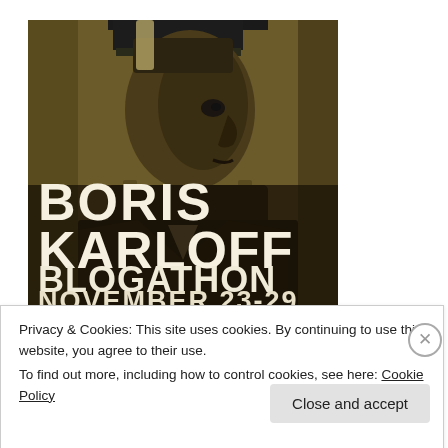[Figure (illustration): Boris Karloff Blogathon poster. Sepia-toned image of Boris Karloff as Frankenstein's monster in profile, with large bold white text overlay reading BORIS KARLOFF BLOGATHON NOVEMBER 23-29]
Privacy & Cookies: This site uses cookies. By continuing to use this website, you agree to their use.
To find out more, including how to control cookies, see here: Cookie Policy
Close and accept